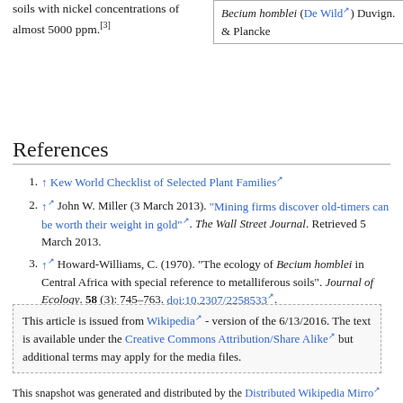soils with nickel concentrations of almost 5000 ppm.[3]
| Becium homblei (De Wild) Duvign. & Plancke |
References
1. ↑ Kew World Checklist of Selected Plant Families
2. ↑ John W. Miller (3 March 2013). "Mining firms discover old-timers can be worth their weight in gold". The Wall Street Journal. Retrieved 5 March 2013.
3. ↑ Howard-Williams, C. (1970). "The ecology of Becium homblei in Central Africa with special reference to metalliferous soils". Journal of Ecology. 58 (3): 745–763. doi:10.2307/2258533.
This article is issued from Wikipedia - version of the 6/13/2016. The text is available under the Creative Commons Attribution/Share Alike but additional terms may apply for the media files.
This snapshot was generated and distributed by the Distributed Wikipedia Mirror effort independently from Wikipedia.